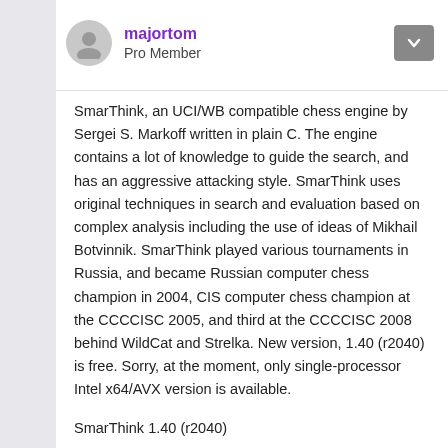majortom
Pro Member
SmarThink, an UCI/WB compatible chess engine by Sergei S. Markoff written in plain C. The engine contains a lot of knowledge to guide the search, and has an aggressive attacking style. SmarThink uses original techniques in search and evaluation based on complex analysis including the use of ideas of Mikhail Botvinnik. SmarThink played various tournaments in Russia, and became Russian computer chess champion in 2004, CIS computer chess champion at the CCCCISC 2005, and third at the CCCCISC 2008 behind WildCat and Strelka. New version, 1.40 (r2040) is free. Sorry, at the moment, only single-processor Intel x64/AVX version is available.
SmarThink 1.40 (r2040)